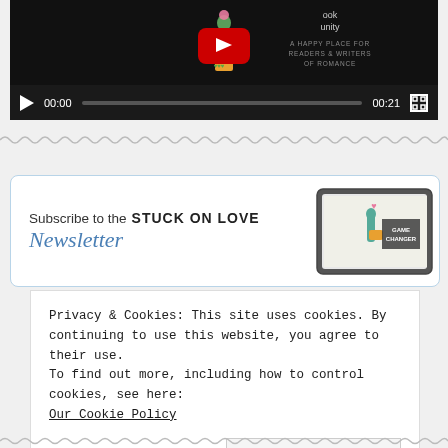[Figure (screenshot): Embedded video player showing a YouTube-style video of a cactus illustration with text 'A HAPPY PLACE FOR READERS & WRITERS OF ROMANCE'. Controls show 00:00 / 00:21 with play button and fullscreen icon.]
[Figure (illustration): Wavy/zigzag decorative divider line in gray]
[Figure (screenshot): Newsletter subscription banner: 'Subscribe to the STUCK ON LOVE Newsletter' with a tablet device showing book cover artwork]
Privacy & Cookies: This site uses cookies. By continuing to use this website, you agree to their use.
To find out more, including how to control cookies, see here:
Our Cookie Policy
Close and accept
[Figure (illustration): Wavy/zigzag decorative divider line at bottom of page]